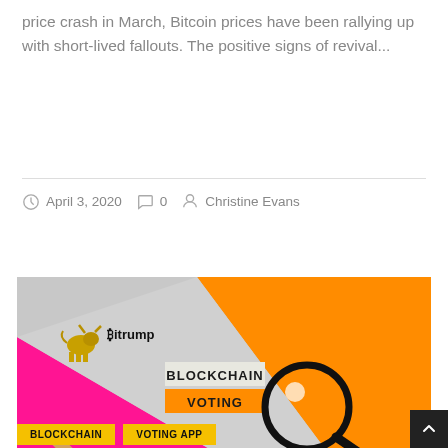price crash in March, Bitcoin prices have been rallying up with short-lived fallouts. The positive signs of revival...
April 3, 2020   0   Christine Evans
[Figure (photo): Photo showing colorful background with orange, pink and grey sections with a magnifying glass, text labels reading BLOCKCHAIN VOTING, and Bitrump logo with bull icon]
BLOCKCHAIN   VOTING APP